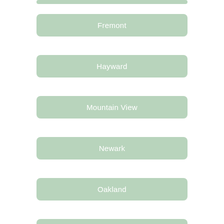Fremont
Hayward
Mountain View
Newark
Oakland
Pacifica
Redwood City
San Francisco